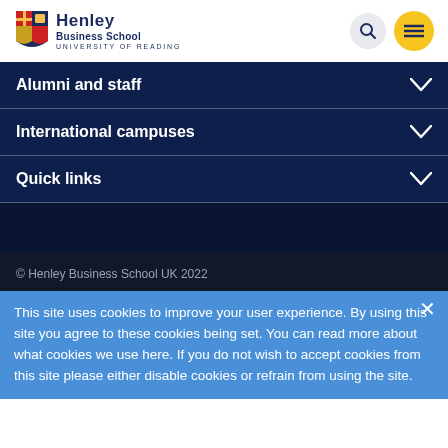[Figure (logo): Henley Business School logo with shield crest and University of Reading text]
Alumni and staff
International campuses
Quick links
© Henley Business School UK 2022
This site uses cookies to improve your user experience. By using this site you agree to these cookies being set. You can read more about what cookies we use here. If you do not wish to accept cookies from this site please either disable cookies or refrain from using the site.